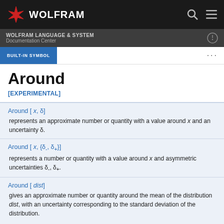WOLFRAM — WOLFRAM LANGUAGE & SYSTEM Documentation Center
BUILT-IN SYMBOL
Around
[EXPERIMENTAL]
Around [x, δ] represents an approximate number or quantity with a value around x and an uncertainty δ.
Around [x, {δ-, δ+}] represents a number or quantity with a value around x and asymmetric uncertainties δ-, δ+.
Around [dist] gives an approximate number or quantity around the mean of the distribution dist, with an uncertainty corresponding to the standard deviation of the distribution.